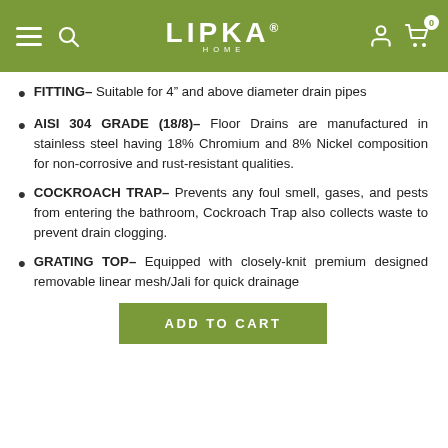LIPKA HOME
FITTING- Suitable for 4" and above diameter drain pipes
AISI 304 GRADE (18/8)- Floor Drains are manufactured in stainless steel having 18% Chromium and 8% Nickel composition for non-corrosive and rust-resistant qualities.
COCKROACH TRAP- Prevents any foul smell, gases, and pests from entering the bathroom, Cockroach Trap also collects waste to prevent drain clogging.
GRATING TOP- Equipped with closely-knit premium designed removable linear mesh/Jali for quick drainage
ADD TO CART